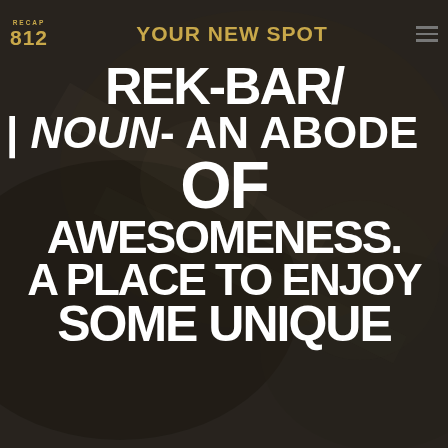[Figure (photo): Dark grayscale background photo of what appears to be a bar or lounge interior, dimly lit, serving as a backdrop for the text overlay.]
RECAP 812 | YOUR NEW SPOT
REK-BAR/ | NOUN- AN ABODE OF AWESOMENESS. A PLACE TO ENJOY SOME UNIQUE
rek-bar/
| noun- an abode of awesomeness. a place to enjoy some unique